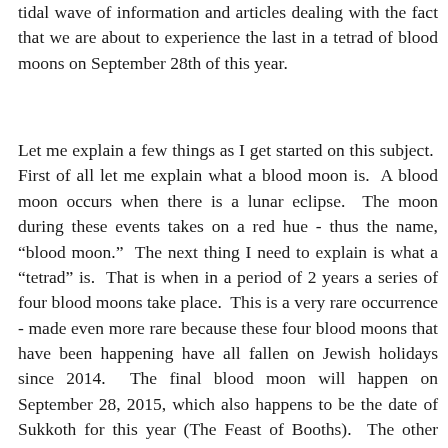tidal wave of information and articles dealing with the fact that we are about to experience the last in a tetrad of blood moons on September 28th of this year.
Let me explain a few things as I get started on this subject. First of all let me explain what a blood moon is. A blood moon occurs when there is a lunar eclipse. The moon during these events takes on a red hue - thus the name, “blood moon.” The next thing I need to explain is what a “tetrad” is. That is when in a period of 2 years a series of four blood moons take place. This is a very rare occurrence - made even more rare because these four blood moons that have been happening have all fallen on Jewish holidays since 2014. The final blood moon will happen on September 28, 2015, which also happens to be the date of Sukkoth for this year (The Feast of Booths). The other blood moons in this tetrad have taken place on Passover (April 15, 2014), Sukkoth (October 8, 2014), and on Passover (April 4, 2015). This